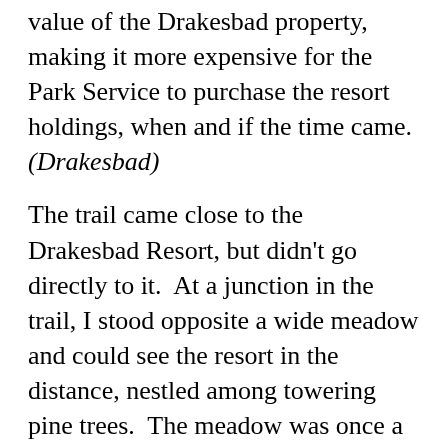value of the Drakesbad property, making it more expensive for the Park Service to purchase the resort holdings, when and if the time came. (Drakesbad)
The trail came close to the Drakesbad Resort, but didn't go directly to it.  At a junction in the trail, I stood opposite a wide meadow and could see the resort in the distance, nestled among towering pine trees.  The meadow was once a swampy marsh that Alexander Sifford had drained in order to grow alfalfa.  It was not possible to cross the meadow to the resort as there was a wide and fairly deep stream just out of sight